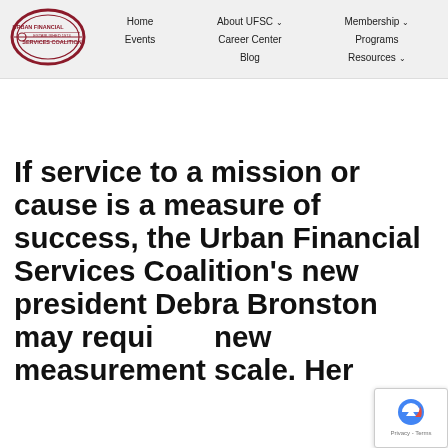[Figure (logo): Urban Financial Services Coalition logo — oval shape with dark red/maroon border, text inside reads URBAN FINANCIAL SERVICES COALITION with ESTABLISHED 1974]
Home   About UFSC ˅   Membership ˅   Events   Career Center   Programs   Blog   Resources ˅
If service to a mission or cause is a measure of success, the Urban Financial Services Coalition's new president Debra Bronston may require a new measurement scale. Her